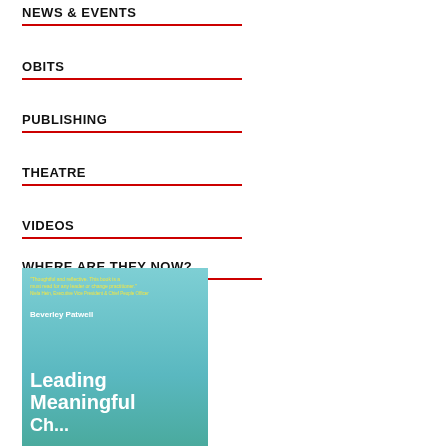NEWS & EVENTS
OBITS
PUBLISHING
THEATRE
VIDEOS
WHERE ARE THEY NOW?
[Figure (photo): Book cover of 'Leading Meaningful Ch...' by Beverley Patwell, teal/blue background with white bold title text and yellow quote text]